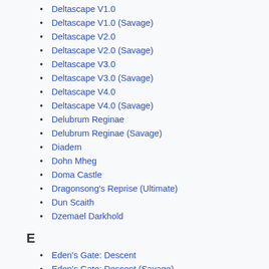Deltascape V1.0
Deltascape V1.0 (Savage)
Deltascape V2.0
Deltascape V2.0 (Savage)
Deltascape V3.0
Deltascape V3.0 (Savage)
Deltascape V4.0
Deltascape V4.0 (Savage)
Delubrum Reginae
Delubrum Reginae (Savage)
Diadem
Dohn Mheg
Doma Castle
Dragonsong's Reprise (Ultimate)
Dun Scaith
Dzemael Darkhold
E
Eden's Gate: Descent
Eden's Gate: Descent (Savage)
Eden's Gate: Inundation
Eden's Gate: Inundation (Savage)